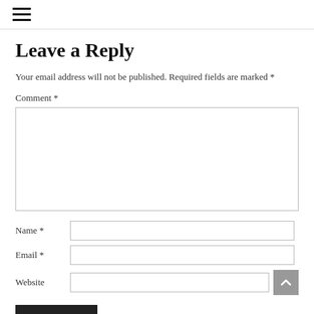☰
Leave a Reply
Your email address will not be published. Required fields are marked *
Comment *
Name *
Email *
Website
Post Comment